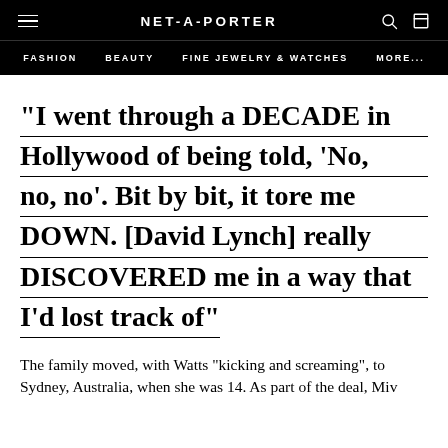NET-A-PORTER
FASHION  BEAUTY  FINE JEWELRY & WATCHES  MORE...
“I went through a DECADE in Hollywood of being told, ‘No, no, no’. Bit by bit, it tore me DOWN. [David Lynch] really DISCOVERED me in a way that I’d lost track of”
The family moved, with Watts “kicking and screaming”, to Sydney, Australia, when she was 14. As part of the deal, Miv